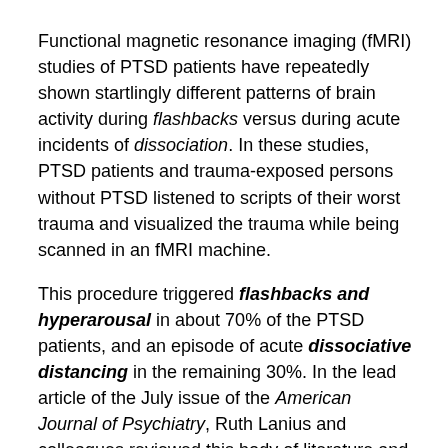Functional magnetic resonance imaging (fMRI) studies of PTSD patients have repeatedly shown startlingly different patterns of brain activity during flashbacks versus during acute incidents of dissociation. In these studies, PTSD patients and trauma-exposed persons without PTSD listened to scripts of their worst trauma and visualized the trauma while being scanned in an fMRI machine.
This procedure triggered flashbacks and hyperarousal in about 70% of the PTSD patients, and an episode of acute dissociative distancing in the remaining 30%. In the lead article of the July issue of the American Journal of Psychiatry, Ruth Lanius and colleagues reviewed this body of literature and analyzed its implications (Lanius, Vermetten, Loewenstein, Brand, Schmahl, Bremner & Spiegel, 2010).